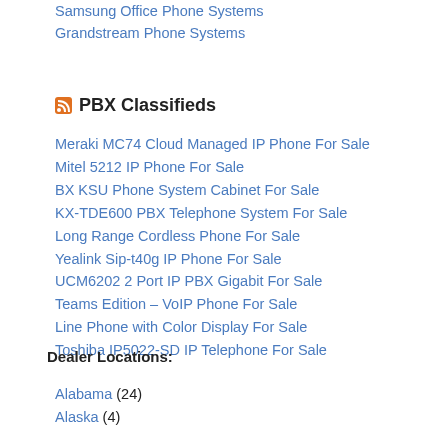Samsung Office Phone Systems
Grandstream Phone Systems
PBX Classifieds
Meraki MC74 Cloud Managed IP Phone For Sale
Mitel 5212 IP Phone For Sale
BX KSU Phone System Cabinet For Sale
KX-TDE600 PBX Telephone System For Sale
Long Range Cordless Phone For Sale
Yealink Sip-t40g IP Phone For Sale
UCM6202 2 Port IP PBX Gigabit For Sale
Teams Edition – VoIP Phone For Sale
Line Phone with Color Display For Sale
Toshiba IP5022-SD IP Telephone For Sale
Dealer Locations:
Alabama (24)
Alaska (4)